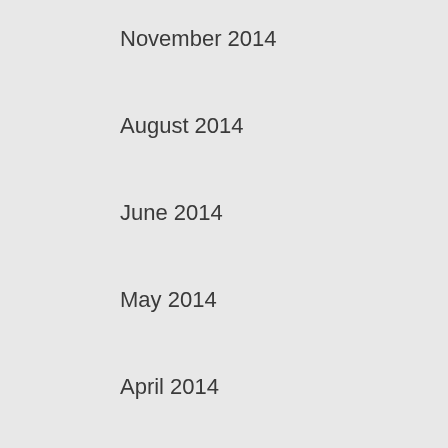November 2014
August 2014
June 2014
May 2014
April 2014
February 2014
December 2013
October 2013
August 2013
July 2013
June 2013
April 2013